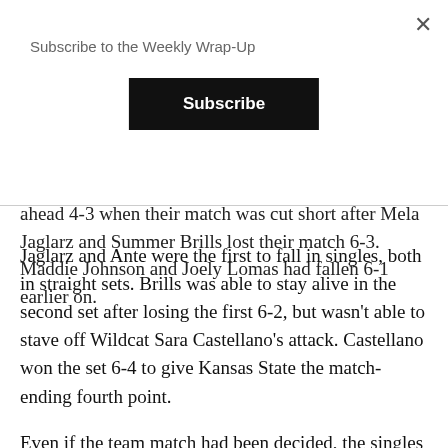Subscribe to the Weekly Wrap-Up
Subscribe
ahead 4-3 when their match was cut short after Mela Jaglarz and Summer Brills lost their match 6-3. Maddie Johnson and Joely Lomas had fallen 6-1 earlier on.
Jaglarz and Ante were the first to fall in singles, both in straight sets. Brills was able to stay alive in the second set after losing the first 6-2, but wasn't able to stave off Wildcat Sara Castellano's attack. Castellano won the set 6-4 to give Kansas State the match-ending fourth point.
Even if the team match had been decided, the singles matches continued as the Bulldogs kept battling.
Johnson won the second set and almost took the third